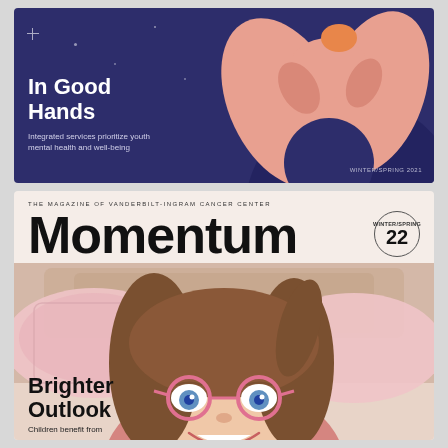[Figure (illustration): Magazine cover thumbnail: 'In Good Hands' - dark navy/purple background with abstract salmon/pink illustration of hands cradling something, white stars. Text overlay: 'In Good Hands', 'Integrated services prioritize youth mental health and well-being', 'WINTER/SPRING 2021']
In Good Hands
Integrated services prioritize youth mental health and well-being
WINTER/SPRING 2021
[Figure (photo): Magazine cover of Momentum, The Magazine of Vanderbilt-Ingram Cancer Center. Features a smiling young girl with glasses and long brown hair lying on pink/beige bedding and pillows. Warm, light pink/beige color palette.]
THE MAGAZINE OF VANDERBILT-INGRAM CANCER CENTER
Momentum
WINTER/SPRING 22
Brighter Outlook
Children benefit from